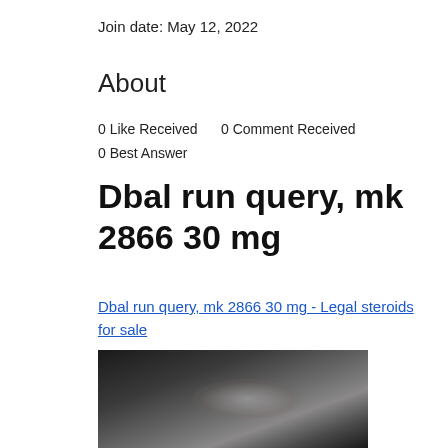Join date: May 12, 2022
About
0 Like Received    0 Comment Received
0 Best Answer
Dbal run query, mk 2866 30 mg
Dbal run query, mk 2866 30 mg - Legal steroids for sale
[Figure (photo): Dark blurred photograph, possibly showing a person or object, with muted grey and dark tones]